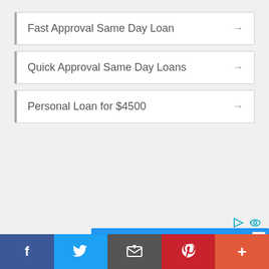Fast Approval Same Day Loan →
Quick Approval Same Day Loans →
Personal Loan for $4500 →
[Figure (screenshot): Amazon Prime advertisement banner with blue background. Text: 'Qualifying EBT and government assistance recipients save 50% on Prime*'. Price: $12.99 $5.99 per month. Amazon Prime logo with smile. *Conditions apply. Decorative box and device imagery on right side.]
f  [Twitter bird]  [Email]  p  +